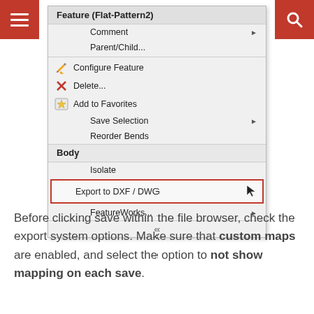[Figure (screenshot): Right-click context menu in SolidWorks showing Feature (Flat-Pattern2) options including Comment, Parent/Child..., Configure Feature, Delete..., Add to Favorites, Save Selection, Reorder Bends, Body section with Isolate, Export to DXF / DWG (highlighted with red border), FeatureWorks...]
Before clicking save within the file browser, check the export system options. Make sure that custom maps are enabled, and select the option to not show mapping on each save.